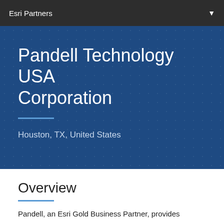Esri Partners
Pandell Technology USA Corporation
Houston, TX, United States
Overview
Pandell, an Esri Gold Business Partner, provides